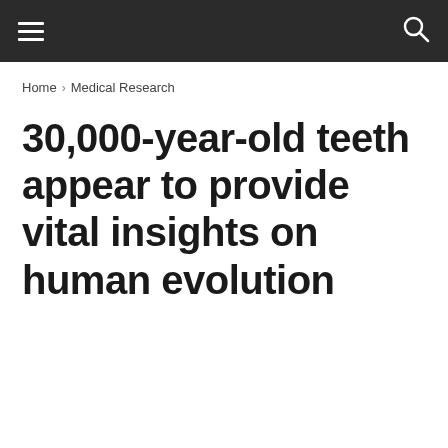☰ [navigation menu] [search icon]
Home › Medical Research
30,000-year-old teeth appear to provide vital insights on human evolution